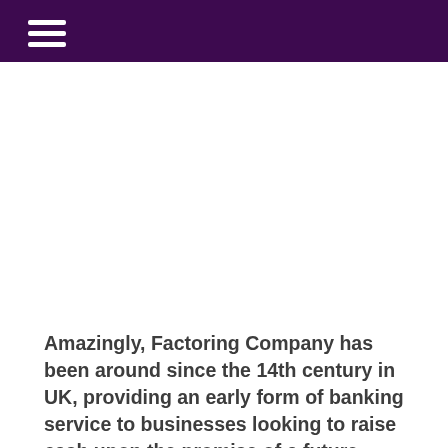Amazingly, Factoring Company has been around since the 14th century in UK, providing an early form of banking service to businesses looking to raise cash upon the promise of a future payment. In its most primitive form,